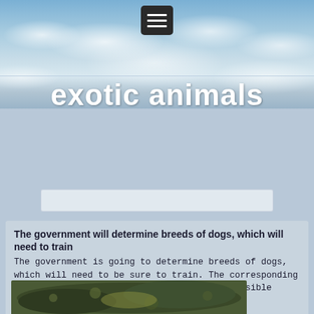[Figure (photo): Sky background with clouds, blue sky header area of a mobile website about exotic animals]
exotic animals
The government will determine breeds of dogs, which will need to train
The government is going to determine breeds of dogs, which will need to be sure to train. The corresponding list will be included in a bill about responsible attitude to...
Continue reading →
[Figure (photo): Photograph of a large coiled snake (boa constrictor or python) with dark patterned scales, coiled on itself with yellow-green coloring visible]